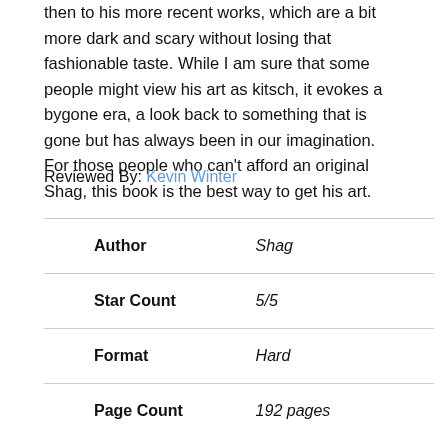then to his more recent works, which are a bit more dark and scary without losing that fashionable taste. While I am sure that some people might view his art as kitsch, it evokes a bygone era, a look back to something that is gone but has always been in our imagination. For those people who can't afford an original Shag, this book is the best way to get his art.
Reviewed By: Kevin Winter
| Author |  |
| --- | --- |
| Author | Shag |
| Star Count | 5/5 |
| Format | Hard |
| Page Count | 192 pages |